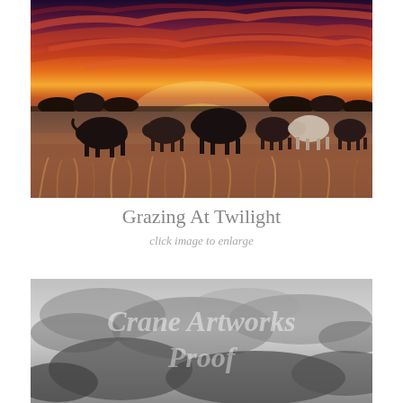[Figure (photo): Cattle grazing in a field at twilight/sunset with dramatic orange, red and purple sky with sweeping clouds. Multiple black and white cattle visible in tall dry grass with trees on the horizon.]
Grazing At Twilight
click image to enlarge
[Figure (photo): Black and white photograph of dramatic cloudy sky with a watermark text reading 'Crane Artworks Proof' overlaid in semi-transparent white letters.]